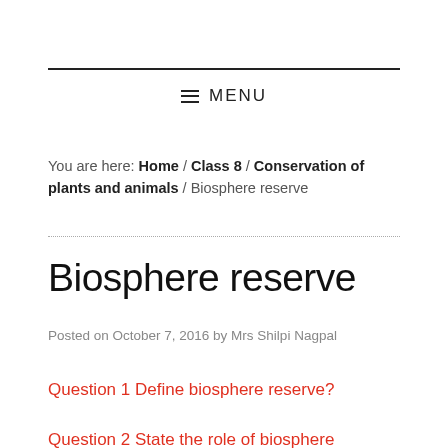MENU
You are here: Home / Class 8 / Conservation of plants and animals / Biosphere reserve
Biosphere reserve
Posted on October 7, 2016 by Mrs Shilpi Nagpal
Question 1 Define biosphere reserve?
Question 2 State the role of biosphere reserve?